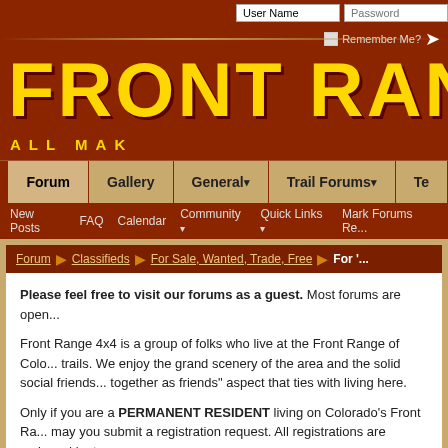[Figure (screenshot): Front Range 4x4 forum website header with login fields (User Name, Password), Remember Me checkbox, large yellow logo text 'FRONT RAN' (clipped), subtitle 'ALL MAK' (clipped)]
User Name | Password | Remember Me?
FRONT RAN (Front Range 4x4 - logo, clipped)
ALL MAK
Forum | Gallery | General | Trail Forums | Te...
New Posts  FAQ  Calendar  Community  Quick Links  Mark Forums Re...
Forum > Classifieds > For Sale, Wanted, Trade, Free > For '...'
Please feel free to visit our forums as a guest. Most forums are open...
Front Range 4x4 is a group of folks who live at the Front Range of Colo... trails. We enjoy the grand scenery of the area and the solid social friends... together as friends" aspect that ties with living here.
Only if you are a PERMANENT RESIDENT living on Colorado's Front Ra... may you submit a registration request. All registrations are reviewed by t...
If you have any question, use the Contact Us link near the bottom of the...
If you have not heard back from us in a few days, plea... BACK TO TOP ...t y... respond in a couple days, though we sometimes we're on vacation with r...